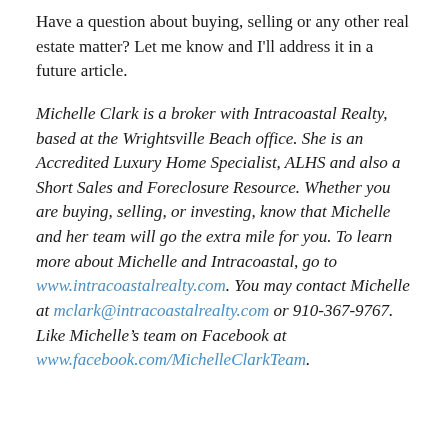Have a question about buying, selling or any other real estate matter? Let me know and I'll address it in a future article.
Michelle Clark is a broker with Intracoastal Realty, based at the Wrightsville Beach office. She is an Accredited Luxury Home Specialist, ALHS and also a Short Sales and Foreclosure Resource. Whether you are buying, selling, or investing, know that Michelle and her team will go the extra mile for you. To learn more about Michelle and Intracoastal, go to www.intracoastalrealty.com. You may contact Michelle at mclark@intracoastalrealty.com or 910-367-9767. Like Michelle's team on Facebook at www.facebook.com/MichelleClarkTeam.